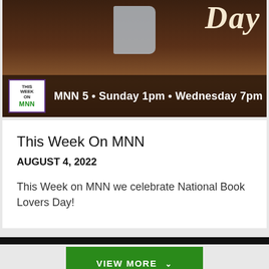[Figure (screenshot): Banner image showing a book with 'Day' text in stylized script, dark warm-toned background. Overlay shows 'THIS WEEK ON MNN' badge and text 'MNN 5 • Sunday 1pm • Wednesday 7pm']
This Week On MNN
AUGUST 4, 2022
This Week on MNN we celebrate National Book Lovers Day!
VIEW MORE